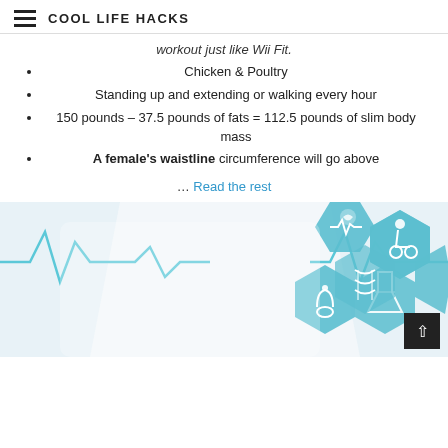COOL LIFE HACKS
workout just like Wii Fit.
Chicken & Poultry
Standing up and extending or walking every hour
150 pounds – 37.5 pounds of fats = 112.5 pounds of slim body mass
A female's waistline circumference will go above
… Read the rest
[Figure (photo): Medical/health themed image showing a person in a white coat with teal hexagonal icons featuring healthcare symbols (wheelchair, DNA, heart rate, stethoscope, flask) and a heartbeat line graphic overlay]